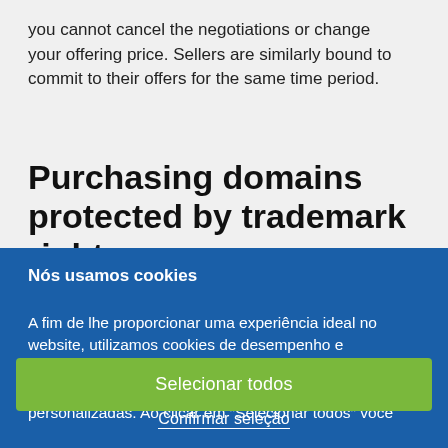you cannot cancel the negotiations or change your offering price. Sellers are similarly bound to commit to their offers for the same time period.
Purchasing domains protected by trademark rights
Nós usamos cookies
A fim de lhe proporcionar uma experiência ideal no website, utilizamos cookies de desempenho e cooperação. Isto permite-nos tornar os nossos websites mais fáceis de utilizar e apresentar ofertas personalizadas. Ao clicar em "Selecionar todos" você
Selecionar todos
Confirmar seleção